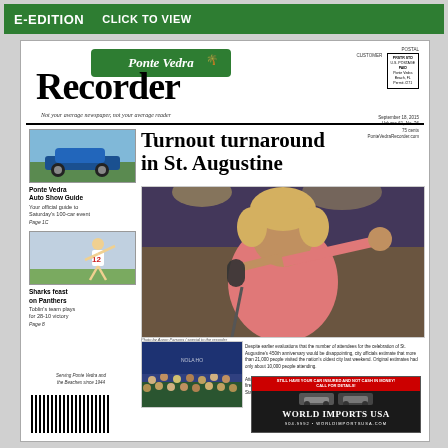E-EDITION   CLICK TO VIEW
Ponte Vedra Recorder
Not your average newspaper, not your average reader
POSTAL CUSTOMER   PRSTR STD U.S. POSTAGE PAID Ponte Vedra Beach, FL Permit #271   September 18, 2015 Volume 61, No. 36 75 cents   PonteVedraRecorder.com
Turnout turnaround in St. Augustine
[Figure (photo): Blue classic car at an auto show on grass]
Ponte Vedra Auto Show Guide
Your official guide to Saturday's 100-car event
Page 1C
[Figure (photo): Baseball pitcher #12 throwing a ball]
Sharks feast on Panthers
Toblin's team plays for 28-10 victory
Page 8
[Figure (photo): Singer performing on stage with microphone, wearing pink outfit]
Photo by Aaron Parsons / special to the recorder
[Figure (photo): Large crowd gathered at outdoor St. Augustine celebration]
Despite earlier evaluations that the number of attendees for the celebration of St. Augustine's 450th anniversary would be disappointing, city officials estimate that more than 21,000 people visited the nation's oldest city last weekend. Original estimates had only about 10,000 people attending. Attendance came officers from around the country, elected officials and an evening of fireworks at the family-friendly celebration. Pictured above is the legendary Mavis Staples, seen on the main stage on Friday night. Page 8.
Serving Ponte Vedra and the Beaches since 1944